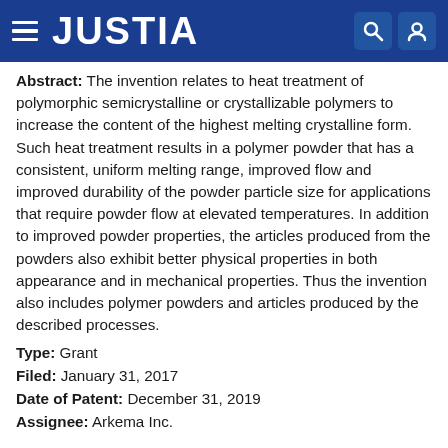JUSTIA
Abstract: The invention relates to heat treatment of polymorphic semicrystalline or crystallizable polymers to increase the content of the highest melting crystalline form. Such heat treatment results in a polymer powder that has a consistent, uniform melting range, improved flow and improved durability of the powder particle size for applications that require powder flow at elevated temperatures. In addition to improved powder properties, the articles produced from the powders also exhibit better physical properties in both appearance and in mechanical properties. Thus the invention also includes polymer powders and articles produced by the described processes.
Type: Grant
Filed: January 31, 2017
Date of Patent: December 31, 2019
Assignee: Arkema Inc.